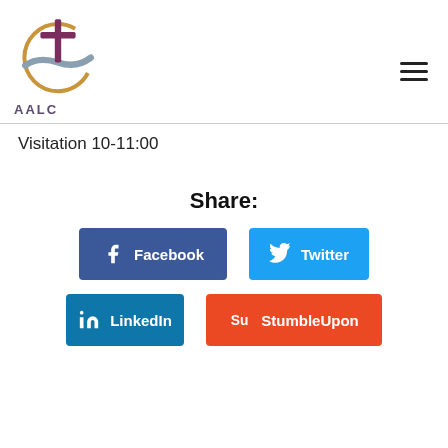[Figure (logo): AALC church logo with cross, circle, and wave design]
Visitation 10-11:00
Share:
[Figure (infographic): Social share buttons: Facebook, Twitter, LinkedIn, StumbleUpon]